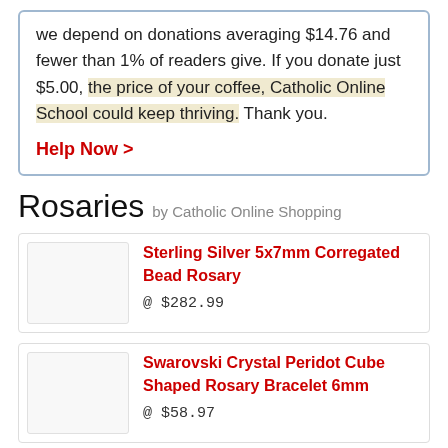we depend on donations averaging $14.76 and fewer than 1% of readers give. If you donate just $5.00, the price of your coffee, Catholic Online School could keep thriving. Thank you.
Help Now >
Rosaries by Catholic Online Shopping
Sterling Silver 5x7mm Corregated Bead Rosary @ $282.99
Swarovski Crystal Peridot Cube Shaped Rosary Bracelet 6mm @ $58.97